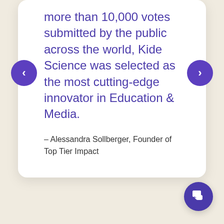more than 10,000 votes submitted by the public across the world, Kide Science was selected as the most cutting-edge innovator in Education & Media.
– Alessandra Sollberger, Founder of Top Tier Impact